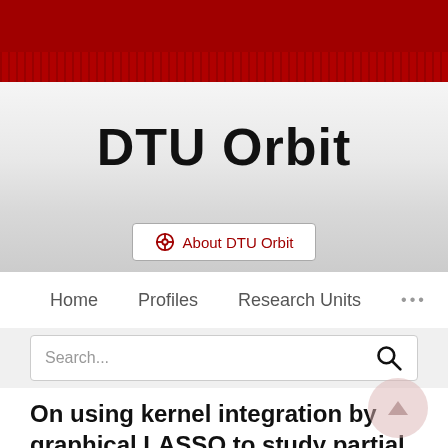[Figure (logo): DTU Orbit website header with dark red top bar and patterned stripe]
DTU Orbit
About DTU Orbit
Home   Profiles   Research Units   ...
Search...
On using kernel integration by graphical LASSO to study partial